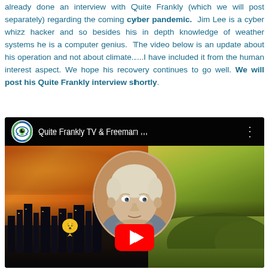already done an interview with Quite Frankly (which we will post separately) regarding the coming cyber pandemic. Jim Lee is a cyber whizz hacker and so besides his in depth knowledge of weather systems he is a computer genius. The video below is an update about his operation and not about climate.....I have included it from the human interest aspect. We hope his recovery continues to go well. We will post his Quite Frankly interview shortly.
[Figure (screenshot): YouTube video embed showing 'Quite Frankly TV & Freeman ...' with a thumbnail of a man with blonde hair in a circular crop against an apocalyptic background split between fire/smoke on the left and green fields on the right. A red YouTube play button is centered at the bottom of the thumbnail.]